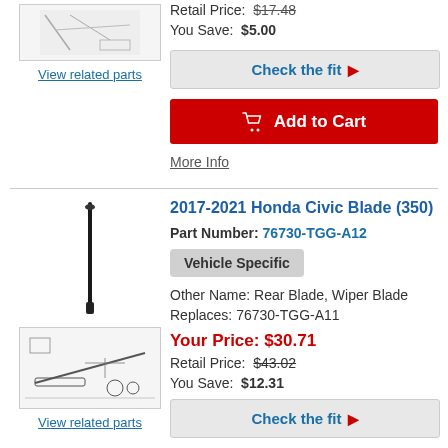[Figure (photo): Product image placeholder at top]
View related parts
Retail Price: $17.48
You Save: $5.00
Check the fit ▶
Add to Cart
More Info
2017-2021 Honda Civic Blade (350)
Part Number: 76730-TGG-A12
Vehicle Specific
Other Name: Rear Blade, Wiper Blade
Replaces: 76730-TGG-A11
[Figure (photo): Wiper blade product image]
[Figure (engineering-diagram): Wiper assembly diagram]
View related parts
Your Price: $30.71
Retail Price: $43.02
You Save: $12.31
Check the fit ▶